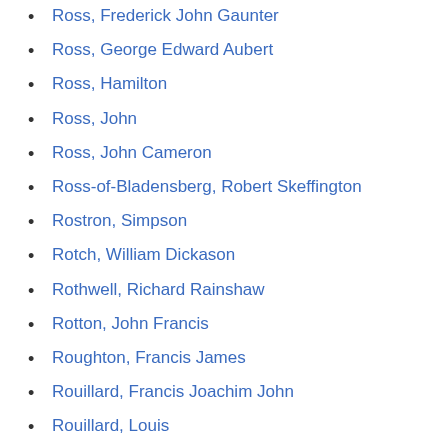Ross, Frederick John Gaunter
Ross, George Edward Aubert
Ross, Hamilton
Ross, John
Ross, John Cameron
Ross-of-Bladensberg, Robert Skeffington
Rostron, Simpson
Rotch, William Dickason
Rothwell, Richard Rainshaw
Rotton, John Francis
Roughton, Francis James
Rouillard, Francis Joachim John
Rouillard, Louis